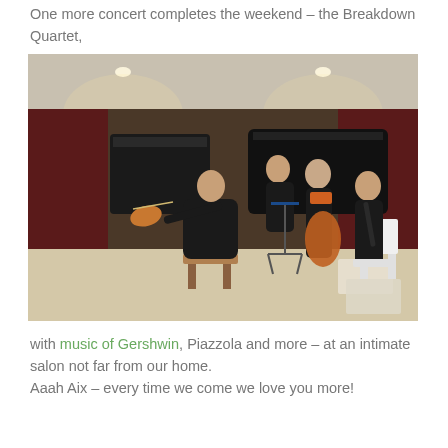One more concert completes the weekend – the Breakdown Quartet,
[Figure (photo): Four musicians performing chamber music in an intimate salon with dark red curtains and recessed lighting. A violinist on the left, a pianist in the back, a cellist in the center, and a clarinetist on the right, all dressed in black formal attire. Music stands and programs are visible.]
with music of Gershwin, Piazzola and more – at an intimate salon not far from our home. Aaah Aix – every time we come we love you more!